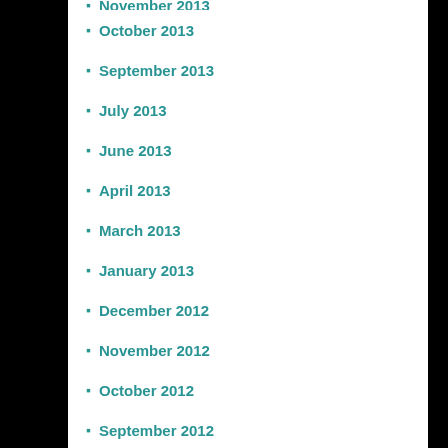November 2013 (partial)
October 2013
September 2013
July 2013
June 2013
April 2013
March 2013
January 2013
December 2012
November 2012
October 2012
September 2012
August 2012
July 2012
June 2012
May 2012
March 2012
February 2012
January 2012
December 2011
October 2011
September 2011